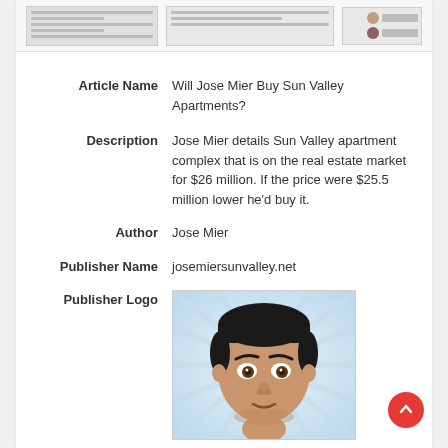[Figure (screenshot): Thumbnail preview of a web article page with two small images on the right showing avatar photos]
Article Name: Will Jose Mier Buy Sun Valley Apartments?
Description: Jose Mier details Sun Valley apartment complex that is on the real estate market for $26 million. If the price were $25.5 million lower he'd buy it.
Author: Jose Mier
Publisher Name: josemiersunvalley.net
[Figure (illustration): Publisher logo: cartoon illustration of a man's face with dark hair against a light blue ray background]